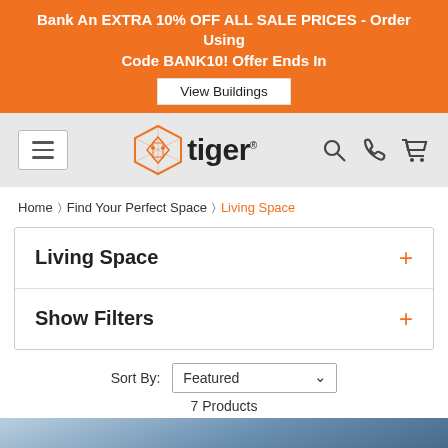Bank An EXTRA 10% OFF ALL SALE PRICES - Order Using Code BANK10! Offer Ends In
View Buildings
[Figure (logo): Tiger Buildings logo with geometric hexagon tiger head icon and wordmark 'tiger']
Home > Find Your Perfect Space > Living Space
Living Space +
Show Filters +
Sort By: Featured — 7 Products
[Figure (photo): Partial view of a building or product image with blue gradient background]